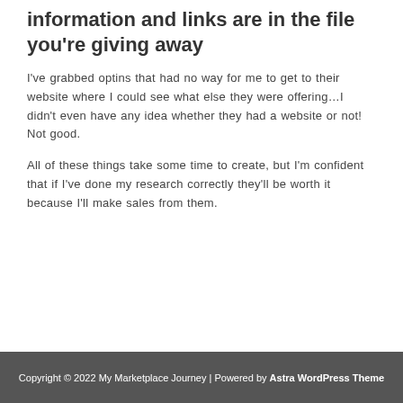information and links are in the file you're giving away
I've grabbed optins that had no way for me to get to their website where I could see what else they were offering…I didn't even have any idea whether they had a website or not! Not good.
All of these things take some time to create, but I'm confident that if I've done my research correctly they'll be worth it because I'll make sales from them.
Copyright © 2022 My Marketplace Journey | Powered by Astra WordPress Theme